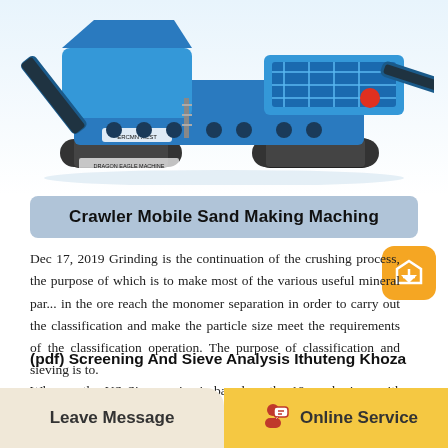[Figure (photo): Crawler mobile sand making machine — a large blue industrial crawler-mounted crushing/sand-making machine on white background]
Crawler Mobile Sand Making Maching
Dec 17, 2019 Grinding is the continuation of the crushing process, the purpose of which is to make most of the various useful mineral parts in the ore reach the monomer separation in order to carry out the classification and make the particle size meet the requirements of the classification operation. The purpose of classification and sieving is to.
(pdf) Screening And Sieve Analysis Ithuteng Khoza
Whereas the US Sieve series is based on the 19 mesh sieve with an opening of 1.00mm. Sieving is carried out with wet or dry samples and
Leave Message   Online Service